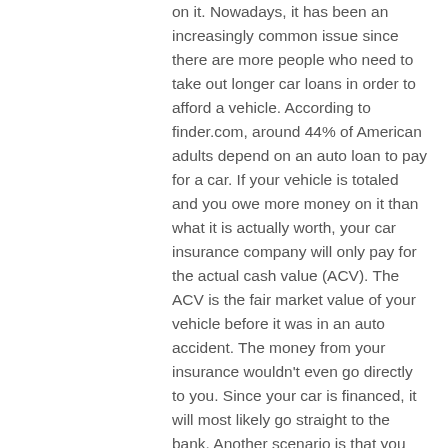on it. Nowadays, it has been an increasingly common issue since there are more people who need to take out longer car loans in order to afford a vehicle. According to finder.com, around 44% of American adults depend on an auto loan to pay for a car. If your vehicle is totaled and you owe more money on it than what it is actually worth, your car insurance company will only pay for the actual cash value (ACV). The ACV is the fair market value of your vehicle before it was in an auto accident. The money from your insurance wouldn't even go directly to you. Since your car is financed, it will most likely go straight to the bank. Another scenario is that you would get a check made out to you, which you will need to sign and send to your finance company.